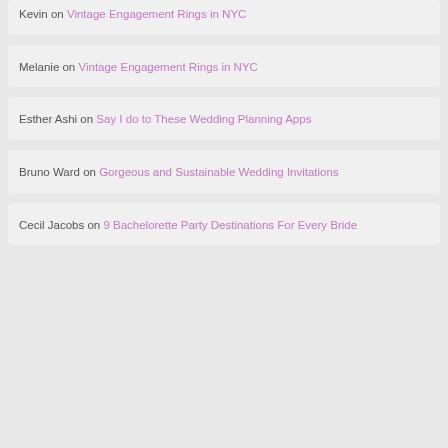Kevin on Vintage Engagement Rings in NYC
Melanie on Vintage Engagement Rings in NYC
Esther Ashi on Say I do to These Wedding Planning Apps
Bruno Ward on Gorgeous and Sustainable Wedding Invitations
Cecil Jacobs on 9 Bachelorette Party Destinations For Every Bride